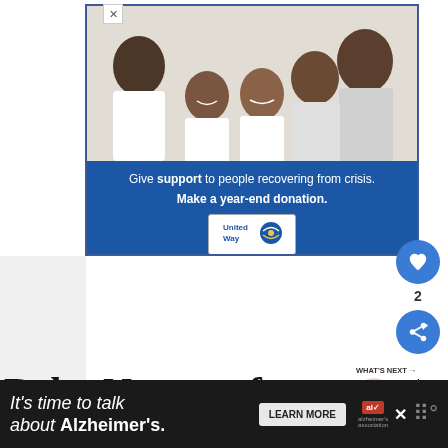[Figure (photo): Advertisement banner with family photo (parents and children in white shirts) above a blue panel. Blue panel reads: 'Give support to people recovering from crisis. Make a year-end donation.' with United Way logo.]
[Figure (infographic): Social sidebar with heart/like button showing count of 2, and a share button.]
WHAT'S NEXT → 139 Elegant and Unique...
Baby Names of Certain Length
[Figure (infographic): Bottom advertisement bar with dark background. Text: 'It's time to talk about Alzheimer's.' with LEARN MORE button and Alzheimer's Association logo.]